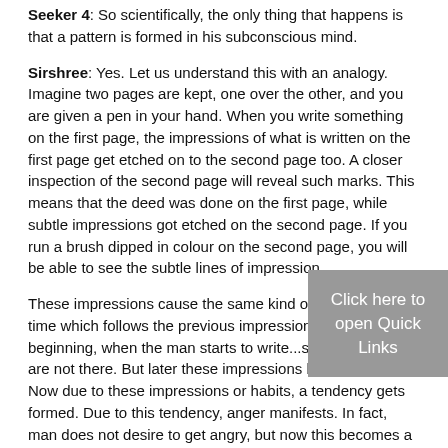Seeker 4: So scientifically, the only thing that happens is that a pattern is formed in his subconscious mind.
Sirshree: Yes. Let us understand this with an analogy. Imagine two pages are kept, one over the other, and you are given a pen in your hand. When you write something on the first page, the impressions of what is written on the first page get etched on to the second page too. A closer inspection of the second page will reveal such marks. This means that the deed was done on the first page, while subtle impressions got etched on the second page. If you run a brush dipped in colour on the second page, you will be able to see the subtle lines of impression.
These impressions cause the same kind of writing next time which follows the previous impressions. In the beginning, when the man starts to write...such impressions are not there. But later these impressions become deeper. Now due to these impressions or habits, a tendency gets formed. Due to this tendency, anger manifests. In fact, man does not desire to get angry, but now this becomes a habit. Once a habit gets formed , man gets easily drawn towards that habit.
Seeker 1: Yes. This makes sense. So, if I shout at someone today, the consequence of that Karma is that my anger pattern is becoming stronger
[Figure (other): Gray overlay box with text 'Click here to open Quick Links']